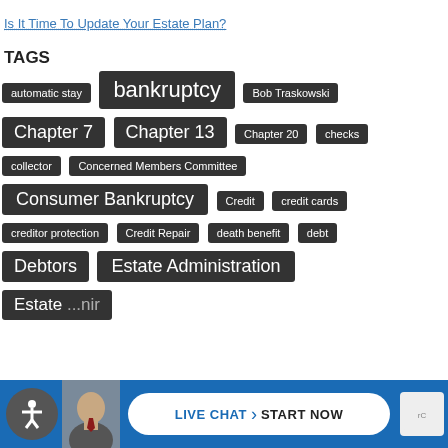Is It Time To Update Your Estate Plan?
TAGS
automatic stay
bankruptcy
Bob Traskowski
Chapter 7
Chapter 13
Chapter 20
checks
collector
Concerned Members Committee
Consumer Bankruptcy
Credit
credit cards
creditor protection
Credit Repair
death benefit
debt
Debtors
Estate Administration
Estate ...nir
LIVE CHAT > START NOW